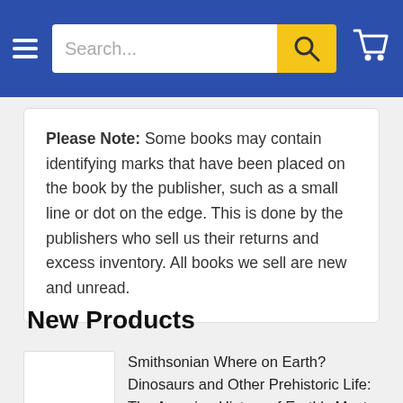Search...
Please Note: Some books may contain identifying marks that have been placed on the book by the publisher, such as a small line or dot on the edge. This is done by the publishers who sell us their returns and excess inventory. All books we sell are new and unread.
New Products
Smithsonian Where on Earth? Dinosaurs and Other Prehistoric Life: The Amazing History of Earth's Most Incredible Animals Hardcover